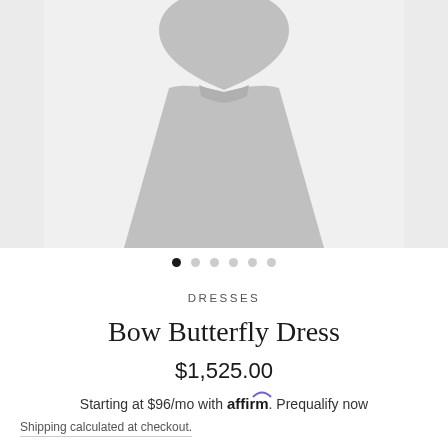[Figure (photo): Product image carousel showing a Bow Butterfly Dress in gray against a light background, with partial side panels visible on the left and right edges]
● ○ ○ ○ ○ ○
DRESSES
Bow Butterfly Dress
$1,525.00
Starting at $96/mo with affirm. Prequalify now
Shipping calculated at checkout.